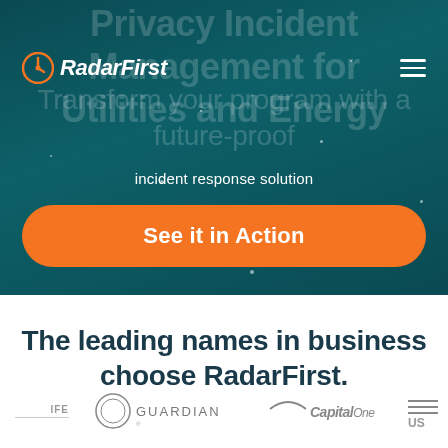[Figure (screenshot): RadarFirst website hero section with dark teal background, navigation bar with logo and hamburger menu]
RadarFirst
Privacy Incident Management for Utilities and Energy
Transform your program with a future-proof incident response solution
See it in Action
The leading names in business choose RadarFirst.
[Figure (logo): Life insurance company logo (partial)]
[Figure (logo): Guardian logo]
[Figure (logo): Capital One logo]
[Figure (logo): US Bank logo (partial)]